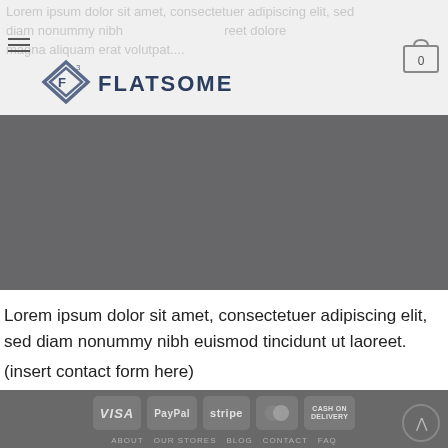Lorem ipsum dolor sit amet, consectetuer adipiscing elit, sed diam nonummy nibh euismod tincidunt ut laoreet dolore magna aliquam erat volutpat....
[Figure (screenshot): Flatsome theme logo with diamond shape and superscript 3, brand name FLATSOME in dark blue, hamburger menu icon on left, shopping cart icon with 0 on right, light gray header background]
[Figure (photo): Dark gray hero/banner area, approximately 448x175px solid #676769 background]
Lorem ipsum dolor sit amet, consectetuer adipiscing elit, sed diam nonummy nibh euismod tincidunt ut laoreet.
(insert contact form here)
[Figure (logo): Payment method badges: VISA, PayPal, stripe, MasterCard circle logo, CASH ON DELIVERY — displayed as rounded rectangle badges on dark gray footer]
ABOUT  OUR STORES  BLOG  CONTACT  FAQ
Copyright 2022 © Pricesplitters, Inc.